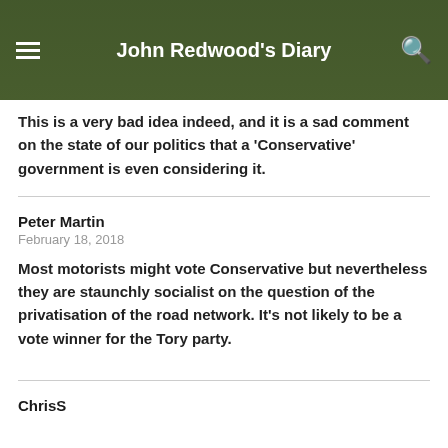John Redwood's Diary
This is a very bad idea indeed, and it is a sad comment on the state of our politics that a ‘Conservative’ government is even considering it.
Peter Martin
February 18, 2018
Most motorists might vote Conservative but nevertheless they are staunchly socialist on the question of the privatisation of the road network. It’s not likely to be a vote winner for the Tory party.
ChrisS